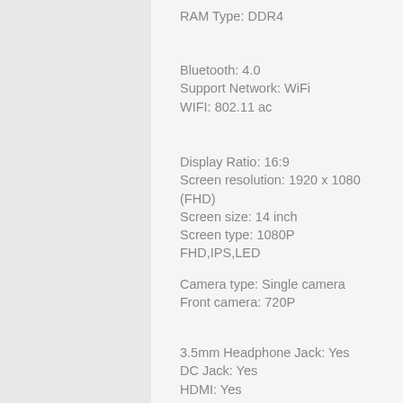RAM Type: DDR4
Bluetooth: 4.0
Support Network: WiFi
WIFI: 802.11 ac
Display Ratio: 16:9
Screen resolution: 1920 x 1080 (FHD)
Screen size: 14 inch
Screen type: 1080P FHD,IPS,LED
Camera type: Single camera
Front camera: 720P
3.5mm Headphone Jack: Yes
DC Jack: Yes
HDMI: Yes
Type-C: 2
USB3.1 Type-A: 2